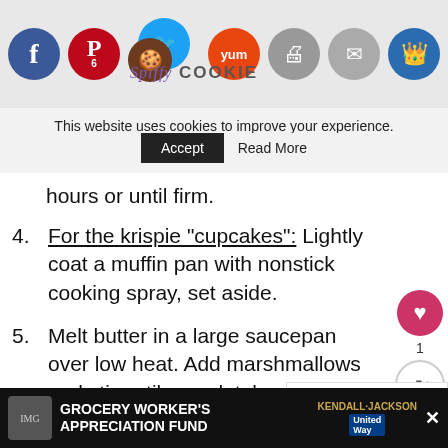[Figure (screenshot): Website header with social media sharing icons (Facebook, Pinterest, Twitter, Yummly, Print, Email, Crown) and Spiffy Cookie logo]
This website uses cookies to improve your experience.
Accept   Read More
hours or until firm.
4. For the krispie "cupcakes": Lightly coat a muffin pan with nonstick cooking spray, set aside.
5. Melt butter in a large saucepan over low heat. Add marshmallows and stir until completely melted
6. Stir in cake mix until dissolved, then stir in the cereal until evenly coated. Add the sp... and mix until evenly distributed.
[Figure (screenshot): What's Next widget showing Guest Post: Sriracha-So...]
[Figure (screenshot): Bottom advertisement banner: Grocery Worker's Appreciation Fund with Kendall-Jackson and United Way logos]